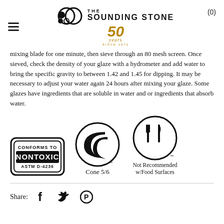The Sounding Stone — 50 Years Since 1972 — (0)
mixing blade for one minute, then sieve through an 80 mesh screen. Once sieved, check the density of your glaze with a hydrometer and add water to bring the specific gravity to between 1.42 and 1.45 for dipping. It may be necessary to adjust your water again 24 hours after mixing your glaze. Some glazes have ingredients that are soluble in water and or ingredients that absorb water.
[Figure (logo): CONFORMS TO NONTOXIC ASTM D-4236 badge, Cone 5/6 certification logo, and Not Recommended w/Food Surfaces symbol]
Share: